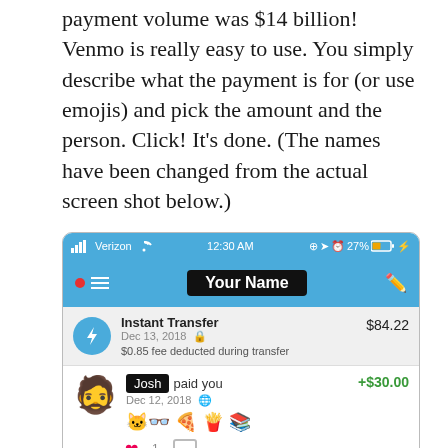payment volume was $14 billion! Venmo is really easy to use. You simply describe what the payment is for (or use emojis) and pick the amount and the person. Click! It's done. (The names have been changed from the actual screen shot below.)
[Figure (screenshot): Venmo app screenshot showing status bar with Verizon 12:30 AM 27%, header bar with Your Name, Instant Transfer $84.22 on Dec 13 2018 with $0.85 fee, and Josh paid you +$30.00 on Dec 12 2018 with emojis]